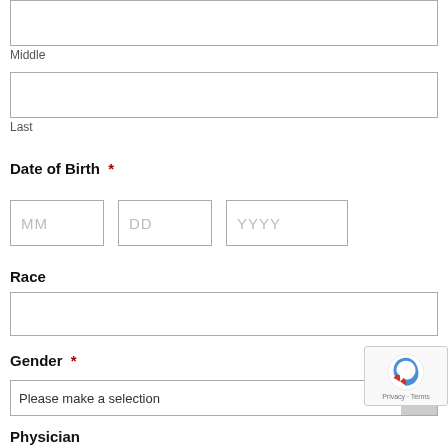Middle
Last
Date of Birth  *
MM   DD   YYYY
Race
Gender  *
Please make a selection
Physician